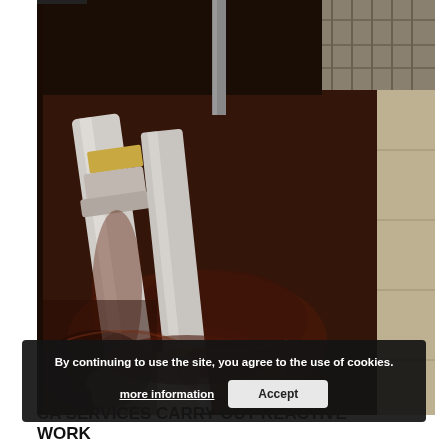[Figure (photo): Close-up photograph of white PVC or plastic pipes in a corroded, rusty metal channel or duct, with reddish-brown water or rust residue visible on the bottom, and taped/wrapped joints on the pipes. The image shows reactive plumbing maintenance work on deteriorated pipe connections.]
By continuing to use the site, you agree to the use of cookies.
more information
Accept
CA SERVICES CARRY OUT REACTIVE WORK